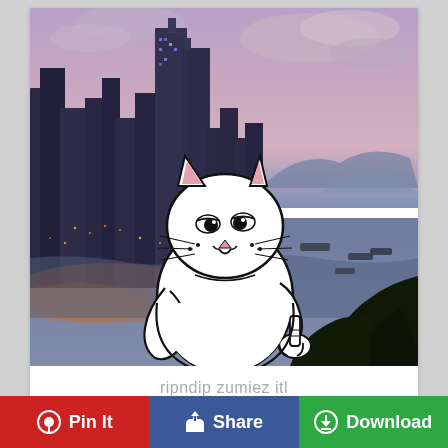[Figure (photo): Hong Kong cityscape at dusk/twilight with illuminated skyscrapers, harbour, boats, and a cartoon white cat (RIPNDIP Lord Nermal) overlaid in the foreground making a middle-finger gesture]
ripndip zumiez itl
[Figure (infographic): Three social sharing buttons: red 'Pin It' (Pinterest), blue 'Share' (Facebook), green 'Download']